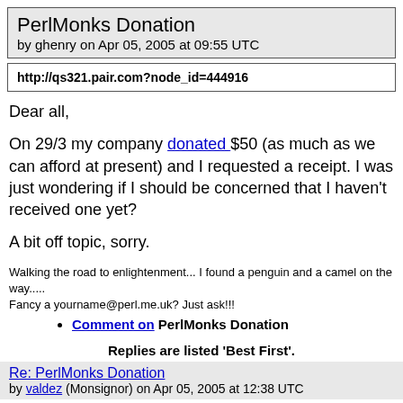PerlMonks Donation
by ghenry on Apr 05, 2005 at 09:55 UTC
http://qs321.pair.com?node_id=444916
Dear all,
On 29/3 my company donated $50 (as much as we can afford at present) and I requested a receipt. I was just wondering if I should be concerned that I haven't received one yet?
A bit off topic, sorry.
Walking the road to enlightenment... I found a penguin and a camel on the way.....
Fancy a yourname@perl.me.uk? Just ask!!!
Comment on PerlMonks Donation
Replies are listed 'Best First'.
Re: PerlMonks Donation
by valdez (Monsignor) on Apr 05, 2005 at 12:38 UTC
I received my receipt many weeks after the donation;